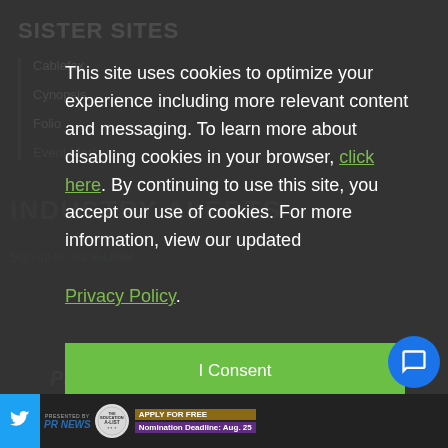SISTER SITES
Cablefax
Cynopsis
Folio
Event Marketer
INDUSTRY ALERTS
Sign up for our e-Letter
This site uses cookies to optimize your experience including more relevant content and messaging. To learn more about disabling cookies in your browser, click here. By continuing to use this site, you accept our use of cookies. For more information, view our updated Privacy Policy.
I Consent
PRESENTED BY PR NEWS | THE EDUCATION A-LIST | APPLY FOR FREE | Nomination Deadline: Aug. 25